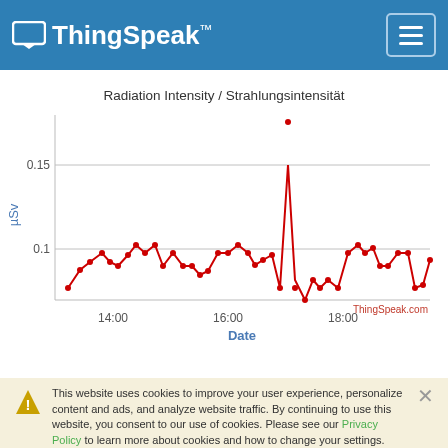ThingSpeak™
[Figure (continuous-plot): Line chart of radiation intensity in µSv over time from ~13:00 to ~19:30. Y-axis ranges from ~0.07 to ~0.18. Two horizontal gridlines at 0.1 and 0.15. X-axis labels: 14:00, 16:00, 18:00. Red line with dots showing fluctuating radiation values, with a sharp peak near 18:00 reaching above 0.17. ThingSpeak.com watermark in bottom right.]
This website uses cookies to improve your user experience, personalize content and ads, and analyze website traffic. By continuing to use this website, you consent to our use of cookies. Please see our Privacy Policy to learn more about cookies and how to change your settings.